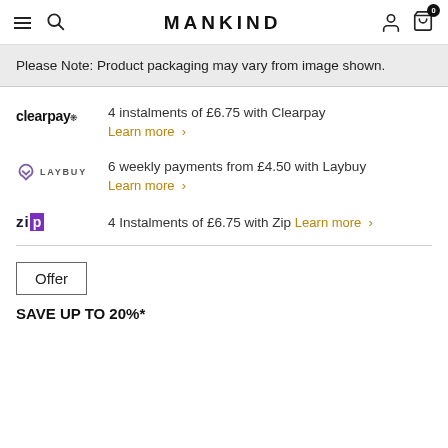MANKIND — navigation header with menu, search, user, and cart icons
Please Note: Product packaging may vary from image shown.
4 instalments of £6.75 with Clearpay Learn more >
6 weekly payments from £4.50 with Laybuy Learn more >
4 Instalments of £6.75 with Zip Learn more >
Offer
SAVE UP TO 20%*